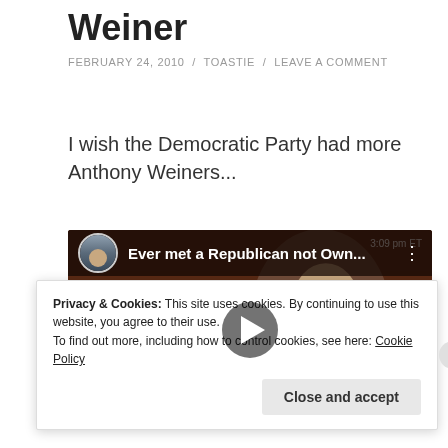Weiner
FEBRUARY 24, 2010 / TOASTIE / LEAVE A COMMENT
I wish the Democratic Party had more Anthony Weiners...
[Figure (screenshot): Embedded YouTube video thumbnail showing a man in a suit speaking at a microphone, with video title 'Ever met a Republican not Own...' and a play button overlay.]
Privacy & Cookies: This site uses cookies. By continuing to use this website, you agree to their use.
To find out more, including how to control cookies, see here: Cookie Policy
Close and accept